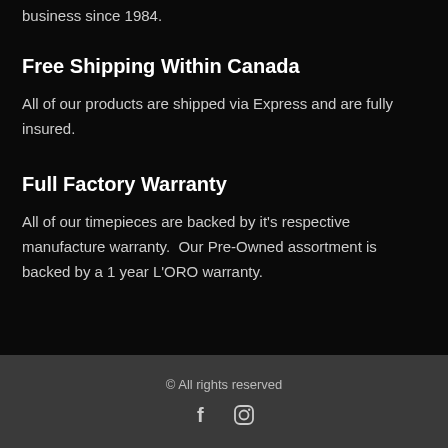business since 1984.
Free Shipping Within Canada
All of our products are shipped via Express and are fully insured.
Full Factory Warranty
All of our timepieces are backed by it's respective manufacture warranty.  Our Pre-Owned assortment is backed by a 1 year L'ORO warranty.
© All rights reserved